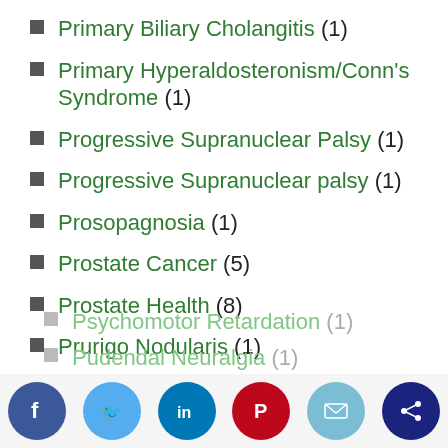Primary Biliary Cholangitis (1)
Primary Hyperaldosteronism/Conn's Syndrome (1)
Progressive Supranuclear Palsy (1)
Progressive Supranuclear palsy (1)
Prosopagnosia (1)
Prostate Cancer (5)
Prostate Health (8)
Prurigo Nodularis (1)
Psoriasis (10)
Psoriatic Arthritis (1)
Psychomotor Retardation (1)
Pudendal Neuralgia (1)